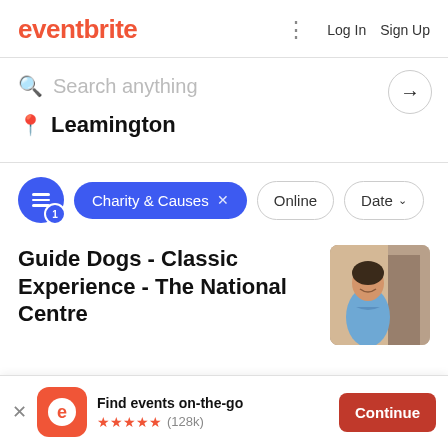eventbrite — Log In  Sign Up
Search anything
Leamington
Charity & Causes × Online Date
Guide Dogs - Classic Experience - The National Centre
[Figure (photo): Photo of a smiling person in a blue shirt, partial view, warm indoor background]
Find events on-the-go ★★★★★ (128k)  Continue